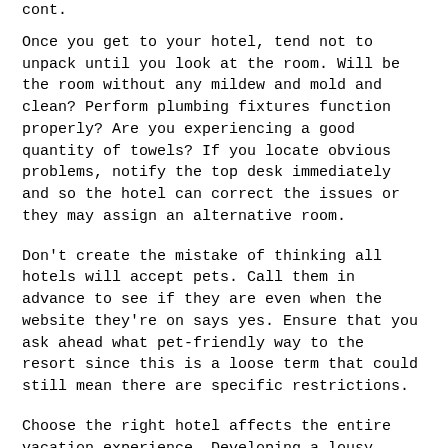cont.
Once you get to your hotel, tend not to unpack until you look at the room. Will be the room without any mildew and mold and clean? Perform plumbing fixtures function properly? Are you experiencing a good quantity of towels? If you locate obvious problems, notify the top desk immediately and so the hotel can correct the issues or they may assign an alternative room.
Don't create the mistake of thinking all hotels will accept pets. Call them in advance to see if they are even when the website they're on says yes. Ensure that you ask ahead what pet-friendly way to the resort since this is a loose term that could still mean there are specific restrictions.
Choose the right hotel affects the entire vacation experience. Developing a lousy accommodation can ruin your entire vacation. Don't allow this to take place. Make use of the above tips to get the best hotel that best meets your...